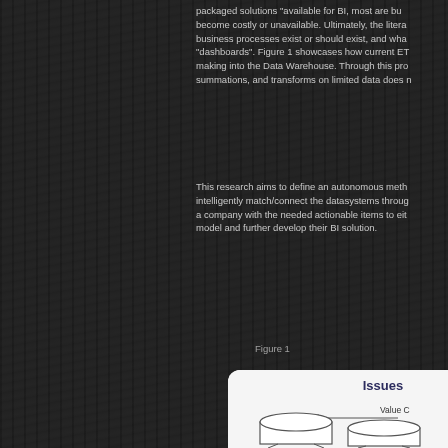packaged solutions available for BI, most are but become costly or unavailable. Ultimately, the litera business processes exist or should exist, and wha "dashboards". Figure 1 showcases how current ET making into the Data Warehouse. Through this pro summations, and transforms on limited data does n
This research aims to define an autonomous meth intelligently match/connect the datasystems throug a company with the needed actionable items to eit model and further develop their BI solution.
Figure 1
[Figure (schematic): A diagram titled 'Issues' showing database cylinder shapes labeled 'Value C...' with connecting lines, representing data warehouse/BI architecture issues. White background with rounded top-left corner.]